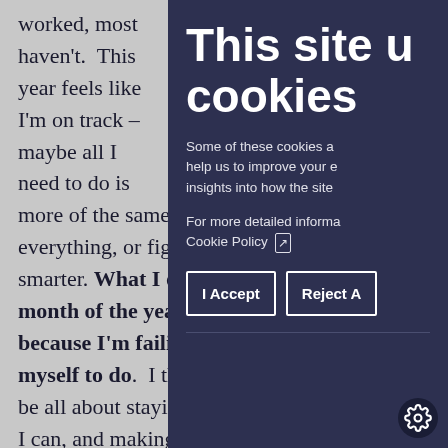worked, most haven't.  This year feels like I'm on track – maybe all I need to do is more of the same.  Try hard everything, or figure out a w smarter. What I don't need month of the year feeling because I'm failing to achi myself to do.  I think the Ne be all about staying on top I can, and making a series o make it easier to do just tha I'll try something more amb
[Figure (screenshot): Cookie consent overlay panel with dark navy background. Title reads 'This site u cookies'. Body text: 'Some of these cookies a help us to improve your e insights into how the site'. Policy link: 'For more detailed informa Cookie Policy [external link icon]'. Two buttons: 'I Accept' and 'Reject A'. A divider line and a gear/settings icon in the bottom right corner.]